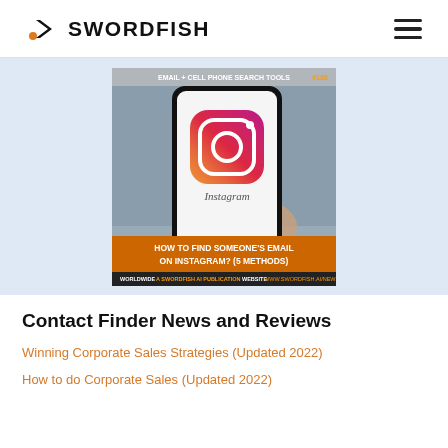SWORDFISH
[Figure (screenshot): A Swordfish AI publication thumbnail showing a hand holding a smartphone with Instagram app logo on screen. Bottom text reads: HOW TO FIND SOMEONE'S EMAIL ON INSTAGRAM? (5 METHODS). Footer: WORLDWIDE A SWORDFISH AI PUBLICATION WEBSITE WWW.SWORDFISH.AI/NEWS]
Contact Finder News and Reviews
Winning Corporate Sales Strategies (Updated 2022)
How to do Corporate Sales (Updated 2022)